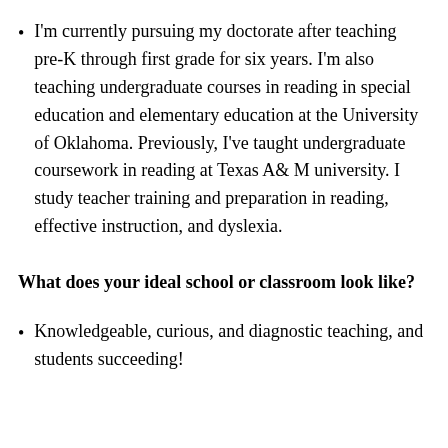I'm currently pursuing my doctorate after teaching pre-K through first grade for six years. I'm also teaching undergraduate courses in reading in special education and elementary education at the University of Oklahoma. Previously, I've taught undergraduate coursework in reading at Texas A& M university. I study teacher training and preparation in reading, effective instruction, and dyslexia.
What does your ideal school or classroom look like?
Knowledgeable, curious, and diagnostic teaching, and students succeeding!